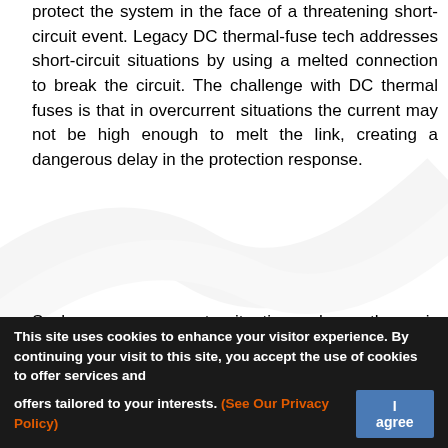protect the system in the face of a threatening short-circuit event. Legacy DC thermal-fuse tech addresses short-circuit situations by using a melted connection to break the circuit. The challenge with DC thermal fuses is that in overcurrent situations the current may not be high enough to melt the link, creating a dangerous delay in the protection response.
Such an overcurrent situation where there is insufficient energy to break the fuse creates a dangerousgray zone where current levels may overwhelm its ability to interrupt the load, never reaching the thermal point for the fuse to trigger. The risk of a time delay before a thermal fuse can be activated while exceeding the breaking capability of a contactor is eliminated with solutions like the GigaFuse, which helps bridge the gap between what contactors can do in normal operation, and when the fuse trips, providing both overcurrent and short-circuit protection.
This site uses cookies to enhance your visitor experience. By continuing your visit to this site, you accept the use of cookies to offer services and offers tailored to your interests. (See Our Privacy Policy)  I agree